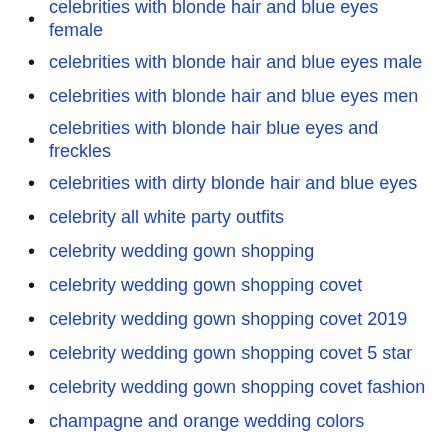celebrities with blonde hair and blue eyes female
celebrities with blonde hair and blue eyes male
celebrities with blonde hair and blue eyes men
celebrities with blonde hair blue eyes and freckles
celebrities with dirty blonde hair and blue eyes
celebrity all white party outfits
celebrity wedding gown shopping
celebrity wedding gown shopping covet
celebrity wedding gown shopping covet 2019
celebrity wedding gown shopping covet 5 star
celebrity wedding gown shopping covet fashion
champagne and orange wedding colors
champagne beach wedding dress
champagne colored beach wedding dresses
character red haired fantasy girl